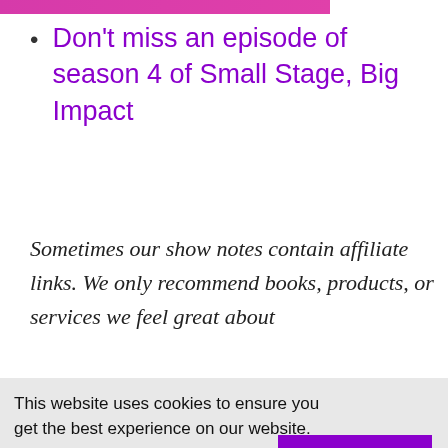Don't miss an episode of season 4 of Small Stage, Big Impact
Sometimes our show notes contain affiliate links. We only recommend books, products, or services we feel great about
[Figure (other): Blue accessibility/wheelchair icon widget on left side]
This website uses cookies to ensure you get the best experience on our website. Learn more